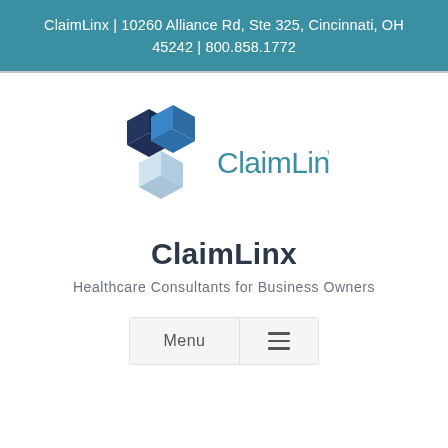ClaimLinx | 10260 Alliance Rd, Ste 325, Cincinnati, OH 45242 | 800.858.1772
[Figure (logo): ClaimLinx logo with three 3D cube shapes in dark blue, medium blue, and light blue/gray, next to the text 'ClaimLinx' in blue with a trademark symbol]
ClaimLinx
Healthcare Consultants for Business Owners
Menu ≡